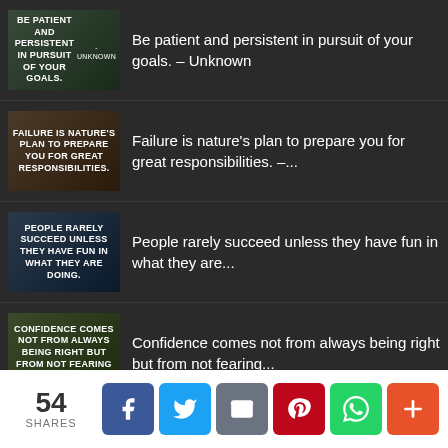Be patient and persistent in pursuit of your goals. – Unknown
Failure is nature's plan to prepare you for great responsibilities. –...
People rarely succeed unless they have fun in what they are...
Confidence comes not from always being right but from not fearing...
(partial) It's okay to make...
54 SHARES